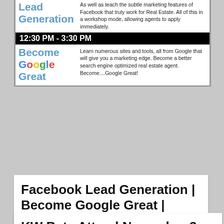[Figure (screenshot): Screenshot of an event page showing 'Facebook Lead Generation' and 'Become Google Great' sessions with times and descriptions, including a 12:30 PM - 3:30 PM time bar.]
Facebook Lead Generation | Become Google Great | November 3
October 27, 2017  |  by Michael Tritthart
https://michaeltritthart.com/event/kwlosgatos_nov3/
KW Beta Attend November 3